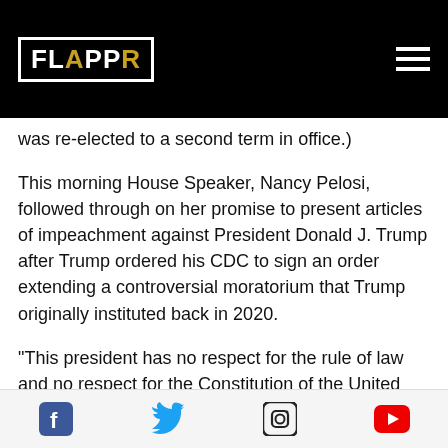FLAPPR
was re-elected to a second term in office.)
This morning House Speaker, Nancy Pelosi, followed through on her promise to present articles of impeachment against President Donald J. Trump after Trump ordered his CDC to sign an order extending a controversial moratorium that Trump originally instituted back in 2020.
"This president has no respect for the rule of law and no respect for the Constitution of the United States,"
Social media links: Facebook, Twitter, Instagram, YouTube